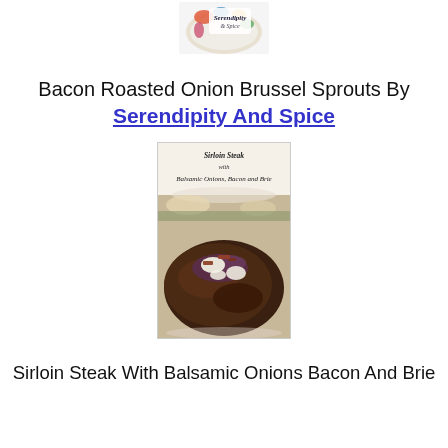[Figure (logo): Serendipity and Spice logo — decorative bowl with script text reading 'Serendipity & Spice']
Bacon Roasted Onion Brussel Sprouts By Serendipity And Spice
[Figure (photo): Photo of a sirloin steak topped with balsamic onions, bacon, and brie cheese on a white plate. Text overlay at top reads 'Sirloin Steak with Balsamic Onions, Bacon and Brie']
Sirloin Steak With Balsamic Onions Bacon And Brie